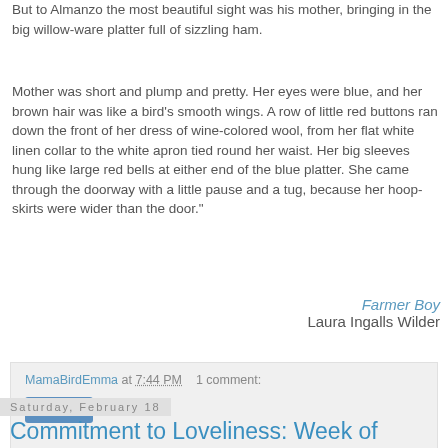But to Almanzo the most beautiful sight was his mother, bringing in the big willow-ware platter full of sizzling ham.
Mother was short and plump and pretty. Her eyes were blue, and her brown hair was like a bird's smooth wings. A row of little red buttons ran down the front of her dress of wine-colored wool, from her flat white linen collar to the white apron tied round her waist. Her big sleeves hung like large red bells at either end of the blue platter. She came through the doorway with a little pause and a tug, because her hoop-skirts were wider than the door."
Farmer Boy
Laura Ingalls Wilder
MamaBirdEmma at 7:44 PM   1 comment:
Share
Saturday, February 18
Commitment to Loveliness: Week of